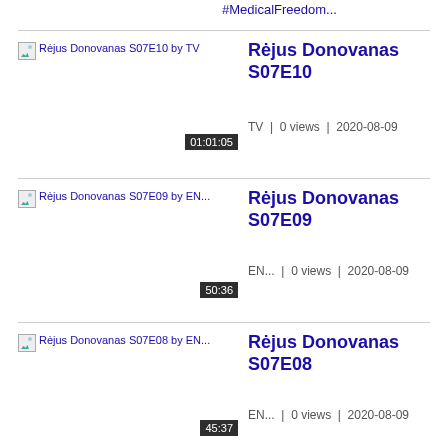#MedicalFreedom...
[Figure (screenshot): Thumbnail for Rėjus Donovanas S07E10 by TV with duration 01:01:05]
Rėjus Donovanas S07E10
TV  |  0 views  |  2020-08-09
[Figure (screenshot): Thumbnail for Rėjus Donovanas S07E09 by EN... with duration 50:36]
Rėjus Donovanas S07E09
EN...  |  0 views  |  2020-08-09
[Figure (screenshot): Thumbnail for Rėjus Donovanas S07E08 by EN... with duration 45:37]
Rėjus Donovanas S07E08
EN...  |  0 views  |  2020-08-09